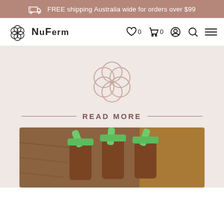FREE shipping Australia wide for orders over $99
[Figure (logo): NuFerm logo with flower/geometric symbol, navigation bar with wishlist (0), cart (0), account, search, and menu icons]
[Figure (illustration): Large NuFerm decorative flower/geometric logo watermark in muted pink on beige background]
READ MORE
[Figure (photo): Close-up photo of chocolate popsicles/ice lollies with neon green handles on a wooden and woven surface background]